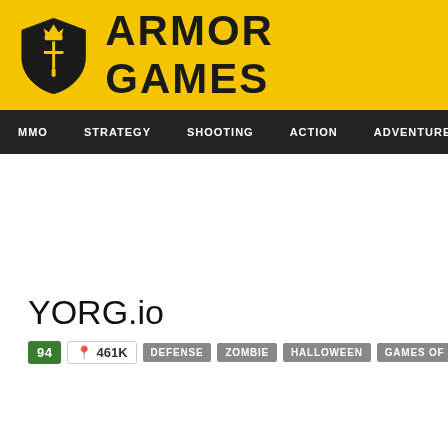[Figure (logo): Armor Games logo: yellow header bar with shield icon and ARMOR GAMES text in bold black]
MMO  STRATEGY  SHOOTING  ACTION  ADVENTURE  P
YORG.io
94  461K  DEFENSE  ZOMBIE  HALLOWEEN  GAMES OF 2018  SURVIVA...